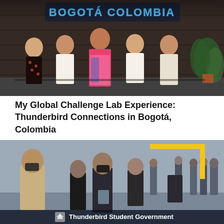[Figure (photo): Five women posing together indoors in front of a neon sign reading 'BOGOTÁ COLOMBIA'. Women are dressed in various outfits; one wears a floral dress, others wear white blouses. There is a plant visible on the right side.]
My Global Challenge Lab Experience: Thunderbird Connections in Bogotá, Colombia
[Figure (photo): People networking in a large indoor space. Several masked individuals are conversing. A decorative yellow L-shaped graphic overlay appears in the upper right. The Thunderbird Student Government logo and text appears at the bottom center of the image.]